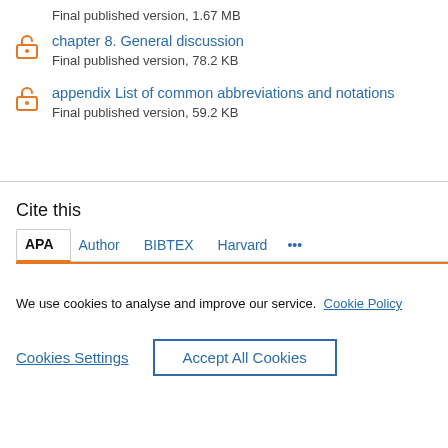Final published version, 1.67 MB
chapter 8. General discussion
Final published version, 78.2 KB
appendix List of common abbreviations and notations
Final published version, 59.2 KB
Cite this
APA  Author  BIBTEX  Harvard  ...
We use cookies to analyse and improve our service. Cookie Policy
Cookies Settings  Accept All Cookies